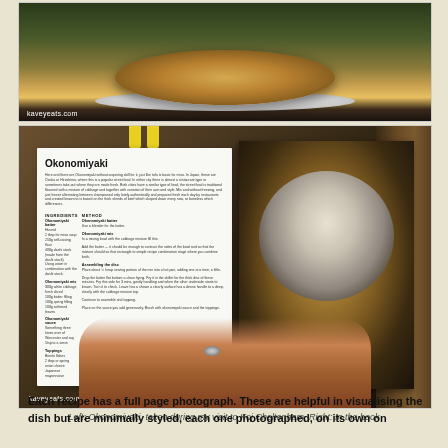[Figure (photo): Photo of Okonomiyaki dish taken at Koj Cheltenham restaurant, viewed from above, showing the dish on a plate with toppings]
[Figure (photo): Photo of an open cookbook being held open by a hand with a ring, showing the Okonomiyaki recipe page on the left (with ingredients and method text) and a full-page dark food photograph on the right. Yellow sticky tabs visible at top. kaveyeats.com watermark.]
Left: Okonomiyaki, taken during my visit to Koj Cheltenham, Right: In the book
Each recipe has a full page photograph. These are helpful in visualising the dish but are minimally styled, each one photographed, on its own on